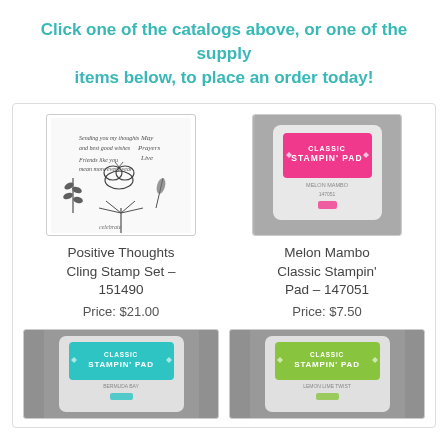Click one of the catalogs above, or one of the supply items below, to place an order today!
[Figure (photo): Positive Thoughts Cling Stamp Set product image showing botanical stamps with butterfly, flowers, and text sentiments]
Positive Thoughts Cling Stamp Set – 151490
Price: $21.00
[Figure (photo): Melon Mambo Classic Stampin' Pad – hot pink ink pad on gray background]
Melon Mambo Classic Stampin' Pad – 147051
Price: $7.50
[Figure (photo): Teal colored Classic Stampin' Pad on gray background]
[Figure (photo): Green colored Classic Stampin' Pad on gray background]